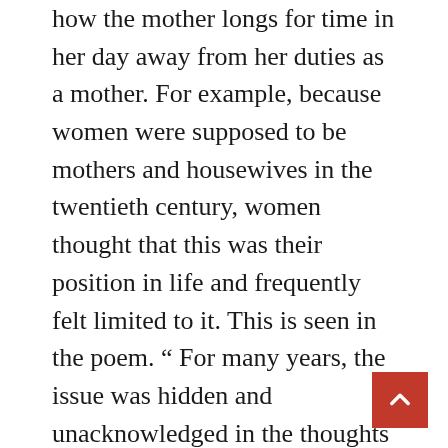how the mother longs for time in her day away from her duties as a mother. For example, because women were supposed to be mothers and housewives in the twentieth century, women thought that this was their position in life and frequently felt limited to it. This is seen in the poem. “ For many years, the issue was hidden and unacknowledged in the thoughts of women in the United States. Middle of the page, there was this peculiar stirring, this sensation of discontent, this longing that women have. It is crucial to note that both “Barbie Doll” and “Barbie Doll” by Marge Piercy are